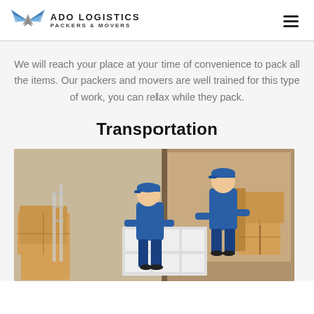ADO LOGISTICS PACKERS & MOVERS
We will reach your place at your time of convenience to pack all the items. Our packers and movers are well trained for this type of work, you can relax while they pack.
Transportation
[Figure (photo): Two men in blue uniforms and caps carrying a white shelf unit from a moving van surrounded by cardboard boxes]